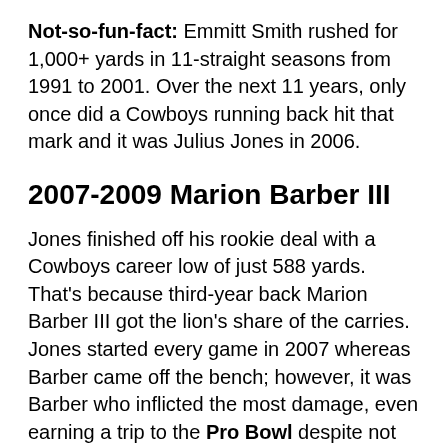Not-so-fun-fact: Emmitt Smith rushed for 1,000+ yards in 11-straight seasons from 1991 to 2001. Over the next 11 years, only once did a Cowboys running back hit that mark and it was Julius Jones in 2006.
2007-2009 Marion Barber III
Jones finished off his rookie deal with a Cowboys career low of just 588 yards. That's because third-year back Marion Barber III got the lion's share of the carries. Jones started every game in 2007 whereas Barber came off the bench; however, it was Barber who inflicted the most damage, even earning a trip to the Pro Bowl despite not starting a single game. The front office loved “The Barbarian” so much that they re-signed him to a seven-year, $45 million deal in 2008. Eventually, his production started to decline and he was released in 2011 where he played one final